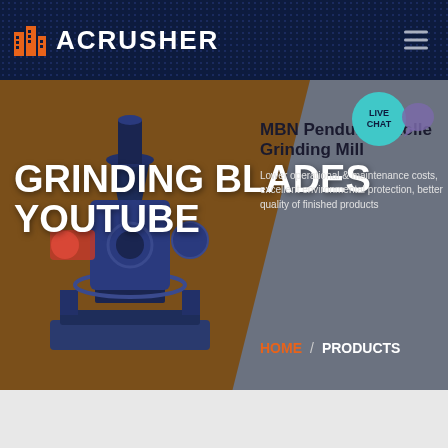[Figure (screenshot): ACRUSHER website screenshot showing navbar with orange building logo, hero section with 'GRINDING BLADES YOUTUBE' title overlaid on brown/grey background with industrial grinding mill machine, product info for MBN Pendulum Roller Grinding Mill, breadcrumb navigation HOME / PRODUCTS, and live chat bubble]
ACRUSHER
GRINDING BLADES YOUTUBE
MBN Pendulum Roller Grinding Mill
Lower operational & maintenance costs, excellent environmental protection, better quality of finished products
HOME / PRODUCTS